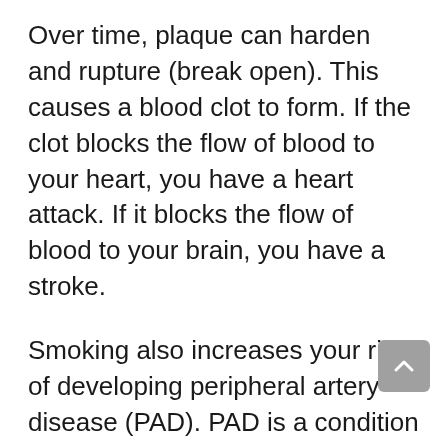Over time, plaque can harden and rupture (break open). This causes a blood clot to form. If the clot blocks the flow of blood to your heart, you have a heart attack. If it blocks the flow of blood to your brain, you have a stroke.
Smoking also increases your risk of developing peripheral artery disease (PAD). PAD is a condition that occurs when plaque builds up in the arteries that supply blood to your legs and feet. This can cause pain or numbness in your legs and feet when you walk or exercise. It can also lead to wounds that won't heal.
Quitting smoking is the best way to protect your heart and blood vessels from further...